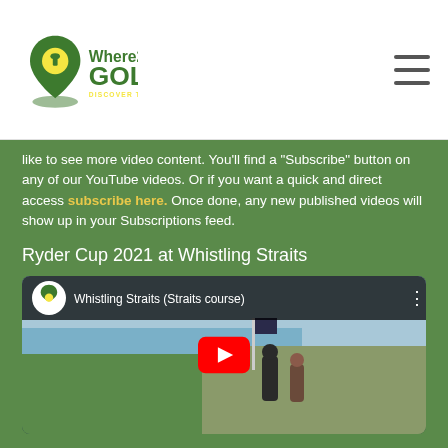Where2Golf - Discover the Best
like to see more video content. You'll find a "Subscribe" button on any of our YouTube videos. Or if you want a quick and direct access subscribe here. Once done, any new published videos will show up in your Subscriptions feed.
Ryder Cup 2021 at Whistling Straits
[Figure (screenshot): YouTube video thumbnail for Whistling Straits (Straits course) with Where2Golf logo, video title, and red play button over a golf course scene]